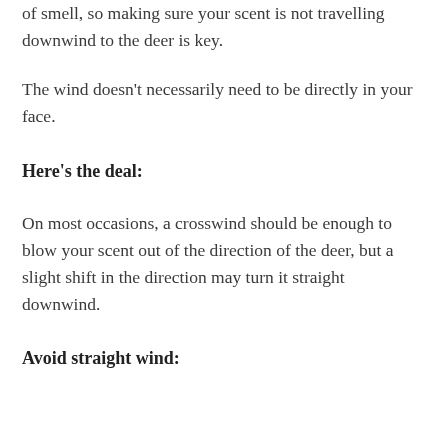of smell, so making sure your scent is not travelling downwind to the deer is key.
The wind doesn't necessarily need to be directly in your face.
Here's the deal:
On most occasions, a crosswind should be enough to blow your scent out of the direction of the deer, but a slight shift in the direction may turn it straight downwind.
Avoid straight wind: